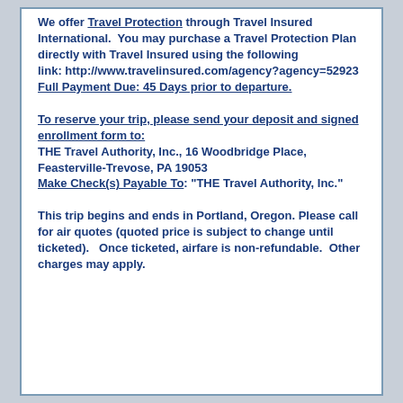We offer Travel Protection through Travel Insured International. You may purchase a Travel Protection Plan directly with Travel Insured using the following link: http://www.travelinsured.com/agency?agency=52923 Full Payment Due: 45 Days prior to departure.
To reserve your trip, please send your deposit and signed enrollment form to: THE Travel Authority, Inc., 16 Woodbridge Place, Feasterville-Trevose, PA 19053 Make Check(s) Payable To: "THE Travel Authority, Inc."
This trip begins and ends in Portland, Oregon. Please call for air quotes (quoted price is subject to change until ticketed). Once ticketed, airfare is non-refundable. Other charges may apply.